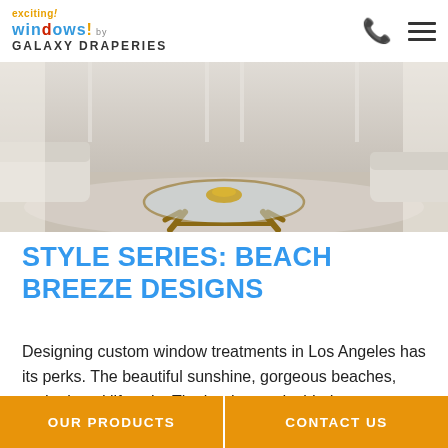exciting! windows! by GALAXY DRAPERIES
[Figure (photo): Interior living room photo showing a round glass coffee table with gold bowl on top, neutral colored sofa, white sheer curtains in background, light gray/beige rug]
STYLE SERIES: BEACH BREEZE DESIGNS
Designing custom window treatments in Los Angeles has its perks. The beautiful sunshine, gorgeous beaches, and relaxed lifestyle. That's why we decided to put together a chic window treatment lookbook for any and every beach home. From Malibu Beach to Santa Monica,